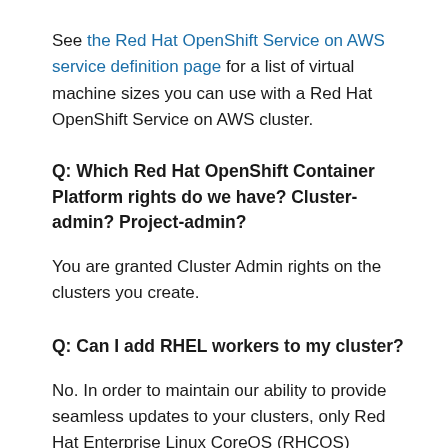See the Red Hat OpenShift Service on AWS service definition page for a list of virtual machine sizes you can use with a Red Hat OpenShift Service on AWS cluster.
Q: Which Red Hat OpenShift Container Platform rights do we have? Cluster-admin? Project-admin?
You are granted Cluster Admin rights on the clusters you create.
Q: Can I add RHEL workers to my cluster?
No. In order to maintain our ability to provide seamless updates to your clusters, only Red Hat Enterprise Linux CoreOS (RHCOS) workers are supported by Red Hat OpenShift Service on AWS.